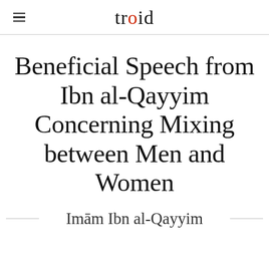troid
Beneficial Speech from Ibn al-Qayyim Concerning Mixing between Men and Women
Imām Ibn al-Qayyim